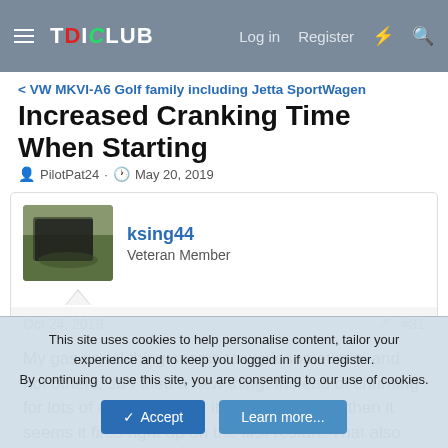TDICLUB | Log in | Register
< VW MKVI-A6 Golf family including Jetta SportWagen
Increased Cranking Time When Starting
PilotPat24 · May 20, 2019
ksing44
Veteran Member
Oct 24, 2019  #31
My gas pedal thing seems to work sometimes and not others, so I tried a new thing. Instead of churning for lots of cycles, if I turn it off after 2 turns, then it seems it fires right up on the first restart. That also doesn't always work, but mostly it does. I don't
This site uses cookies to help personalise content, tailor your experience and to keep you logged in if you register.
By continuing to use this site, you are consenting to our use of cookies.
Accept  Learn more...